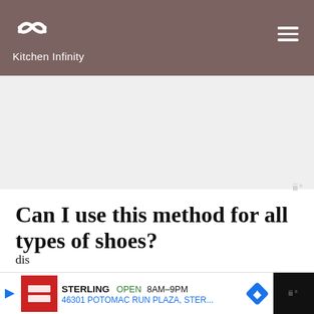Kitchen Infinity
[Figure (other): Advertisement placeholder area (gray background)]
Can I use this method for all types of shoes?
This method should work for all types of shoes, but if you have leather or suede shoes be careful not to soak them for too long. Baking soda can be harsh on these materials and may cause dis...
[Figure (other): Bottom advertisement bar: STERLING OPEN 8AM-9PM 46301 POTOMAC RUN PLAZA, STER...]